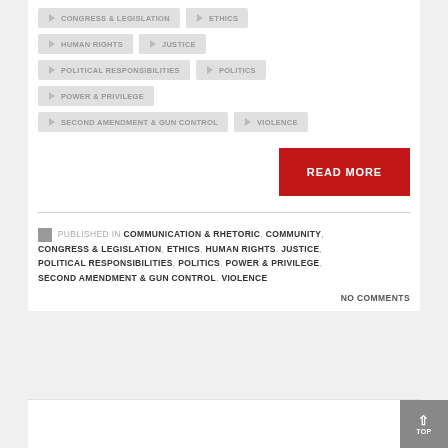CONGRESS & LEGISLATION
ETHICS
HUMAN RIGHTS
JUSTICE
POLITICAL RESPONSIBILITIES
POLITICS
POWER & PRIVILEGE
SECOND AMENDMENT & GUN CONTROL
VIOLENCE
READ MORE
PUBLISHED IN COMMUNICATION & RHETORIC, COMMUNITY, CONGRESS & LEGISLATION, ETHICS, HUMAN RIGHTS, JUSTICE, POLITICAL RESPONSIBILITIES, POLITICS, POWER & PRIVILEGE, SECOND AMENDMENT & GUN CONTROL, VIOLENCE
NO COMMENTS